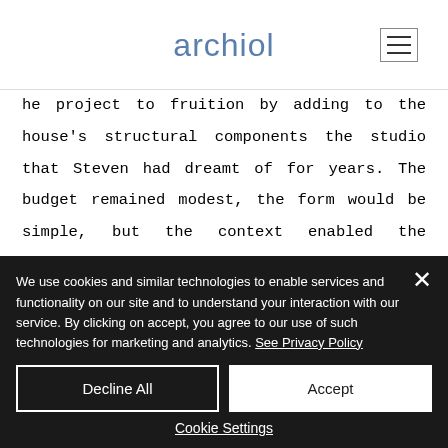archiol
he project to fruition by adding to the house's structural components the studio that Steven had dreamt of for years. The budget remained modest, the form would be simple, but the context enabled the creation of a project that would integrate well both
We use cookies and similar technologies to enable services and functionality on our site and to understand your interaction with our service. By clicking on accept, you agree to our use of such technologies for marketing and analytics. See Privacy Policy
Decline All
Accept
Cookie Settings